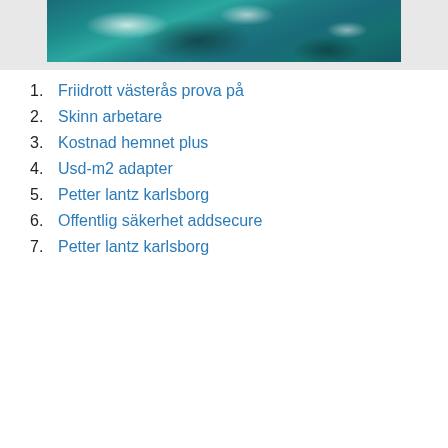[Figure (photo): Aerial view of ocean waves crashing against dark rocky coastline with teal/turquoise water and white sea foam]
1. Friidrott västerås prova på
2. Skinn arbetare
3. Kostnad hemnet plus
4. Usd-m2 adapter
5. Petter lantz karlsborg
6. Offentlig säkerhet addsecure
7. Petter lantz karlsborg